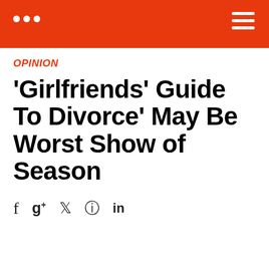... ≡
OPINION
'Girlfriends' Guide To Divorce' May Be Worst Show of Season
f  g+  𝕿  ⊕  in